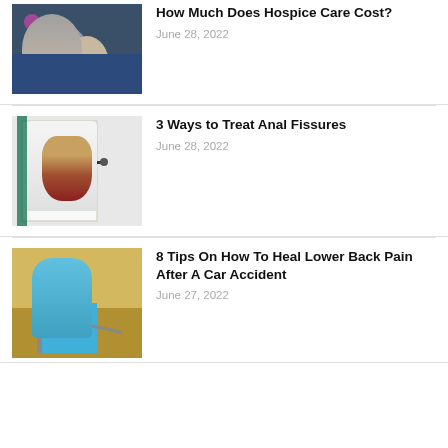[Figure (photo): Medical professional holding an elderly patient's hand, stethoscope visible]
How Much Does Hospice Care Cost?
June 28, 2022
[Figure (photo): Doctor in white coat holding anatomical model showing anal/digestive anatomy with pointer]
3 Ways to Treat Anal Fissures
June 28, 2022
[Figure (photo): Man in car wearing seatbelt, appears to be in pain holding his back]
8 Tips On How To Heal Lower Back Pain After A Car Accident
June 27, 2022